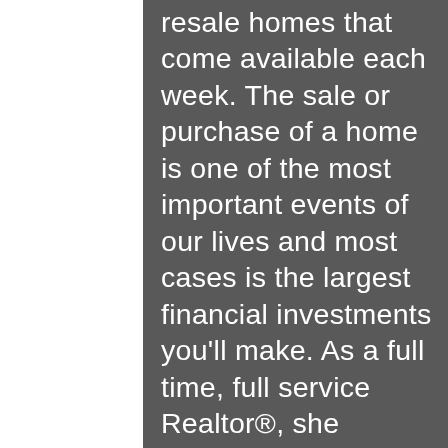resale homes that come available each week. The sale or purchase of a home is one of the most important events of our lives and most cases is the largest financial investments you'll make. As a full time, full service Realtor®, she makes the process smoother by offering the four most important assets clients